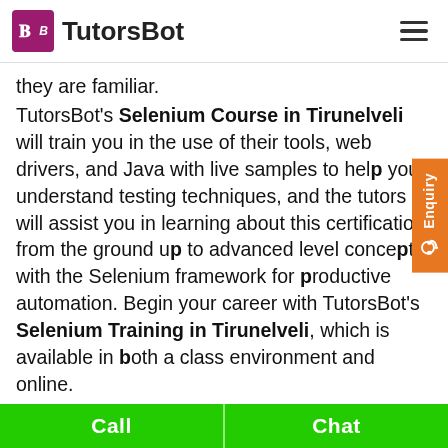[Figure (logo): TutorsBot logo with purple TB icon and TutorsBot text]
they are familiar.
TutorsBot's Selenium Course in Tirunelveli will train you in the use of their tools, web drivers, and Java with live samples to help you understand testing techniques, and the tutors will assist you in learning about this certification from the ground up to advanced level concepts with the Selenium framework for productive automation. Begin your career with TutorsBot's Selenium Training in Tirunelveli, which is available in both a class environment and online.
The Importance of Selenium:
It is a form of automation testing that is nowadays popular around the world. Because Selenium training
Call   Chat